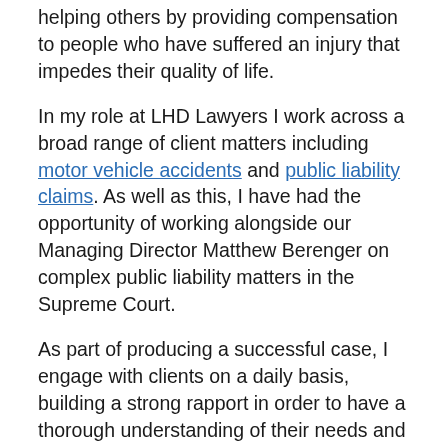helping others by providing compensation to people who have suffered an injury that impedes their quality of life.
In my role at LHD Lawyers I work across a broad range of client matters including motor vehicle accidents and public liability claims. As well as this, I have had the opportunity of working alongside our Managing Director Matthew Berenger on complex public liability matters in the Supreme Court.
As part of producing a successful case, I engage with clients on a daily basis, building a strong rapport in order to have a thorough understanding of their needs and expectations. I aim to ensure that clients are well informed of their legal rights by clearly explaining legal issues in common language that is easy to understand.
I am committed to making sure that matters are reviewed and managed in an efficient way whilst still maintaining a high level of professionalism and efficiency.